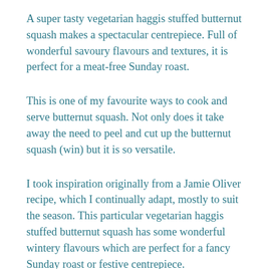A super tasty vegetarian haggis stuffed butternut squash makes a spectacular centrepiece. Full of wonderful savoury flavours and textures, it is perfect for a meat-free Sunday roast.
This is one of my favourite ways to cook and serve butternut squash. Not only does it take away the need to peel and cut up the butternut squash (win) but it is so versatile.
I took inspiration originally from a Jamie Oliver recipe, which I continually adapt, mostly to suit the season. This particular vegetarian haggis stuffed butternut squash has some wonderful wintery flavours which are perfect for a fancy Sunday roast or festive centrepiece.